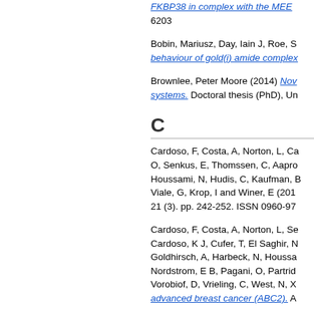FKBP38 in complex with the MEE... 6203
Bobin, Mariusz, Day, Iain J, Roe, S... behaviour of gold(i) amide complex...
Brownlee, Peter Moore (2014) Nov... systems. Doctoral thesis (PhD), Un...
C
Cardoso, F, Costa, A, Norton, L, Ca... O, Senkus, E, Thomssen, C, Aapro... Houssami, N, Hudis, C, Kaufman, B... Viale, G, Krop, I and Winer, E (2011... 21 (3). pp. 242-252. ISSN 0960-97...
Cardoso, F, Costa, A, Norton, L, Se... Cardoso, K J, Cufer, T, El Saghir, N... Goldhirsch, A, Harbeck, N, Houssa... Nordstrom, E B, Pagani, O, Partrid... Vorobiof, D, Vrieling, C, West, N, X... advanced breast cancer (ABC2). A...
Cardoso, F, Costa, A, Norton, L, Se...